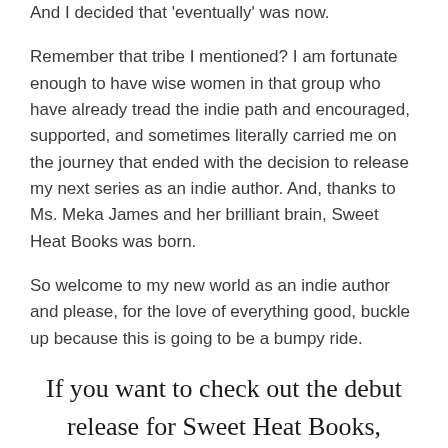And I decided that 'eventually' was now.
Remember that tribe I mentioned? I am fortunate enough to have wise women in that group who have already tread the indie path and encouraged, supported, and sometimes literally carried me on the journey that ended with the decision to release my next series as an indie author. And, thanks to Ms. Meka James and her brilliant brain, Sweet Heat Books was born.
So welcome to my new world as an indie author and please, for the love of everything good, buckle up because this is going to be a bumpy ride.
If you want to check out the debut release for Sweet Heat Books, preorder Truly Inn Love today: